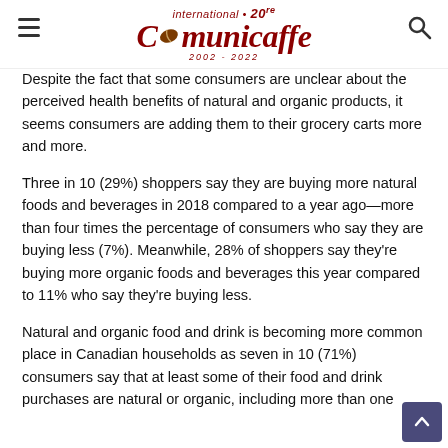international Comunicaffe 20 years 2002-2022
Despite the fact that some consumers are unclear about the perceived health benefits of natural and organic products, it seems consumers are adding them to their grocery carts more and more.
Three in 10 (29%) shoppers say they are buying more natural foods and beverages in 2018 compared to a year ago—more than four times the percentage of consumers who say they are buying less (7%). Meanwhile, 28% of shoppers say they're buying more organic foods and beverages this year compared to 11% who say they're buying less.
Natural and organic food and drink is becoming more common place in Canadian households as seven in 10 (71%) consumers say that at least some of their food and drink purchases are natural or organic, including more than one